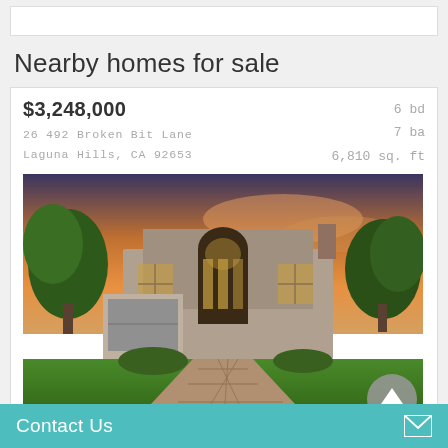Nearby homes for sale
$3,248,000
26 492 Broken Bit Lane
Laguna Hills, CA 92653
6 bd  7 ba  6,810 sq. ft
[Figure (photo): Exterior photo of a large luxury home at dusk/sunset with green lawn and stone walkway, arched window, lush landscaping. CRMLS watermark visible.]
$2,599,999
5 bd
4 ba
Contact Us